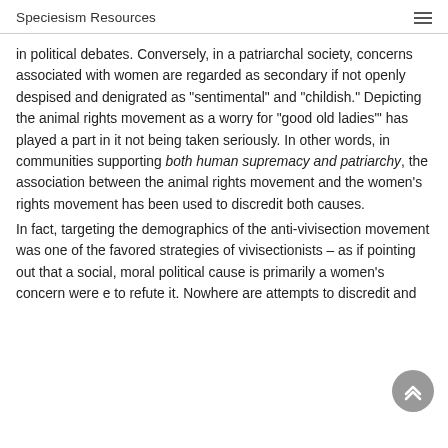Speciesism Resources
in political debates. Conversely, in a patriarchal society, concerns associated with women are regarded as secondary if not openly despised and denigrated as "sentimental" and "childish." Depicting the animal rights movement as a worry for "good old ladies"' has played a part in it not being taken seriously. In other words, in communities supporting both human supremacy and patriarchy, the association between the animal rights movement and the women's rights movement has been used to discredit both causes.
In fact, targeting the demographics of the anti-vivisection movement was one of the favored strategies of vivisectionists – as if pointing out that a social, moral political cause is primarily a women's concern were e to refute it. Nowhere are attempts to discredit and